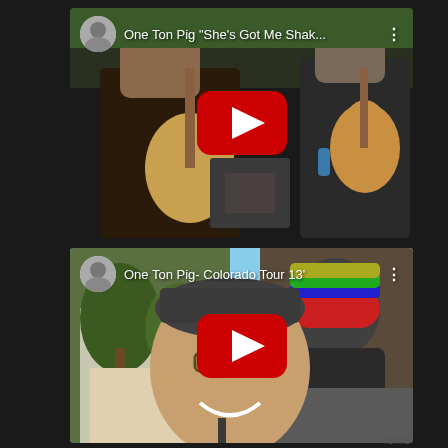[Figure (screenshot): YouTube video thumbnail for 'One Ton Pig She's Got Me Shak...' showing two musicians playing guitar at an outdoor concert, with a YouTube play button overlay]
[Figure (screenshot): YouTube video thumbnail for 'One Ton Pig- Colorado Tour 13'' showing a man smiling at camera outdoors with another person in a colorful beanie in background, with YouTube play button overlay]
Terms